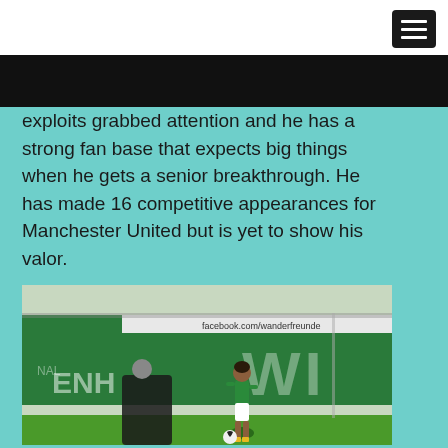exploits grabbed attention and he has a strong fan base that expects big things when he gets a senior breakthrough. He has made 16 competitive appearances for Manchester United but is yet to show his valor.
[Figure (photo): A young footballer in a green and white Werder Bremen kit dribbling a ball on a grass pitch. Another player in black is visible to the left. A green advertising board with 'WI' text and 'facebook.com/wanderfreunde' banner visible in the background.]